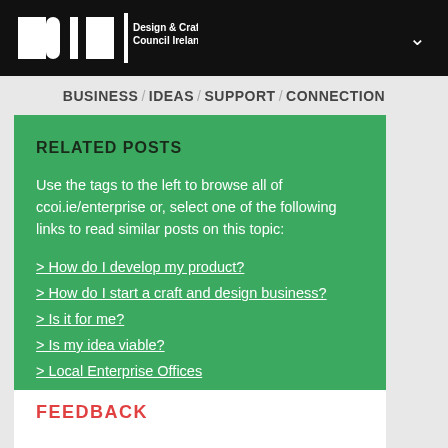Design & Crafts Council Ireland
BUSINESS / IDEAS / SUPPORT / CONNECTION
RELATED POSTS
Use the tags to the left to browse all of ccoi.ie/enterprise or, select one of the following links to read similar posts on this topic:
> How do I develop my product?
> How do I start a craft and design business?
> Is it for me?
> Is my idea viable?
> Local Enterprise Offices
FEEDBACK